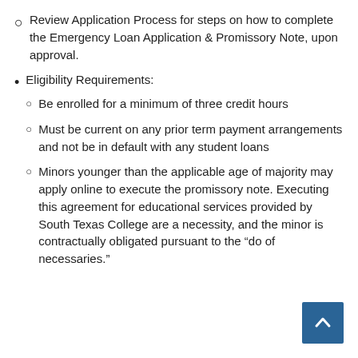Review Application Process for steps on how to complete the Emergency Loan Application & Promissory Note, upon approval.
Eligibility Requirements:
Be enrolled for a minimum of three credit hours
Must be current on any prior term payment arrangements and not be in default with any student loans
Minors younger than the applicable age of majority may apply online to execute the promissory note. Executing this agreement for educational services provided by South Texas College are a necessity, and the minor is contractually obligated pursuant to the “do of necessaries.”